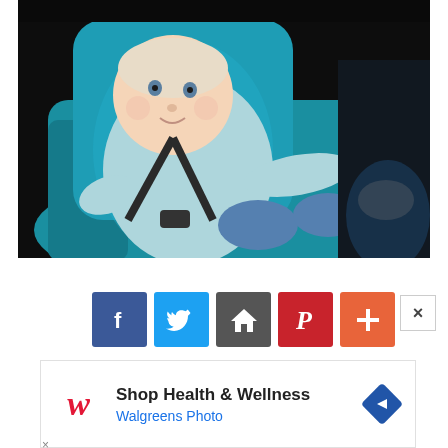[Figure (photo): Baby/toddler sitting in a blue infant car seat inside a vehicle. The baby is wearing a light blue outfit and is secured with seatbelt straps. The car seat is bright blue and the background is dark car interior.]
[Figure (screenshot): Social media sharing buttons row: Facebook (dark blue, f icon), Twitter (light blue, bird icon), Home/roof icon (dark gray), Pinterest (red, P icon), Plus/more (orange-red, + icon). A white close X button is on the right.]
[Figure (screenshot): Walgreens advertisement banner showing cursive W logo in red, text 'Shop Health & Wellness' in bold and 'Walgreens Photo' in blue, with a blue diamond navigation arrow icon on the right. Small play and close icons at the bottom left.]